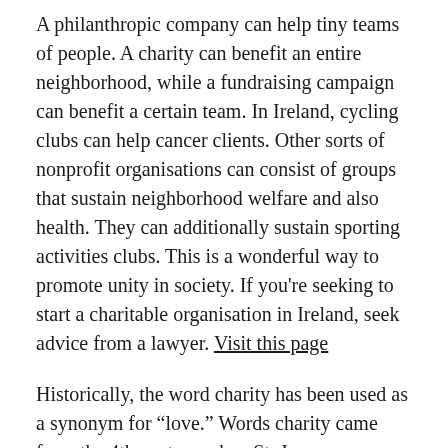A philanthropic company can help tiny teams of people. A charity can benefit an entire neighborhood, while a fundraising campaign can benefit a certain team. In Ireland, cycling clubs can help cancer clients. Other sorts of nonprofit organisations can consist of groups that sustain neighborhood welfare and also health. They can additionally sustain sporting activities clubs. This is a wonderful way to promote unity in society. If you're seeking to start a charitable organisation in Ireland, seek advice from a lawyer. Visit this page
Historically, the word charity has been used as a synonym for "love." Words charity came from the 4th century when St. Jerome converted the Holy bible from Greek to Latin. The Greek word agape is a verb, noun, and also adjective as well as showed up over 312 times in the New Testimony. In old Greece, words was conserved, but in the New